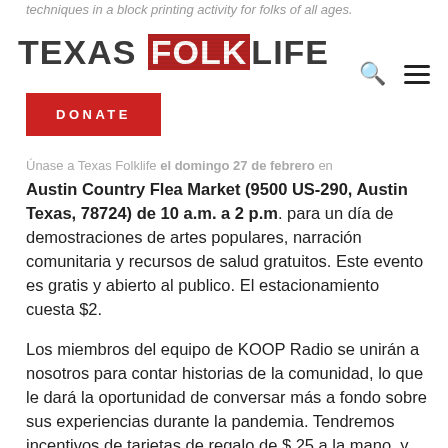techniques in a block printing activity for folks of all ages.
TEXAS FOLKLIFE
DONATE
Únase a Texas Folklife el domingo 27 de febrero en
Austin Country Flea Market (9500 US-290, Austin Texas, 78724) de 10 a.m. a 2 p.m. para un día de demostraciones de artes populares, narración comunitaria y recursos de salud gratuitos. Este evento es gratis y abierto al publico. El estacionamiento cuesta $2.
Los miembros del equipo de KOOP Radio se unirán a nosotros para contar historias de la comunidad, lo que le dará la oportunidad de conversar más a fondo sobre sus experiencias durante la pandemia. Tendremos incentivos de tarjetas de regalo de $ 25 a la mano, y también regalaremos kits de recursos para familias que incluyen